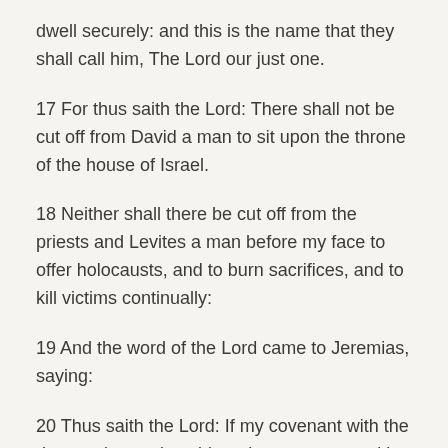dwell securely: and this is the name that they shall call him, The Lord our just one.
17 For thus saith the Lord: There shall not be cut off from David a man to sit upon the throne of the house of Israel.
18 Neither shall there be cut off from the priests and Levites a man before my face to offer holocausts, and to burn sacrifices, and to kill victims continually:
19 And the word of the Lord came to Jeremias, saying:
20 Thus saith the Lord: If my covenant with the day can be made void, and my covenant with the night, that there should not be day and night in their season:
21 Also my covenant with David my servant may be made